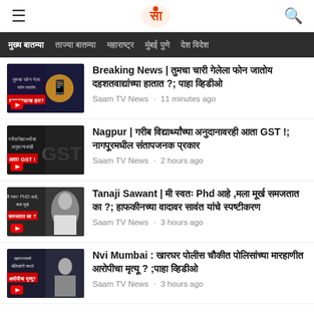Saam TV News – Navigation: मुख्य बातम्या, ताज्या बातम्या, महाराष्ट्र, मुंबई पुणे, देश विदेश
Breaking News | तुमचा चारी गेलेला फोन जातोय दहशतवाद्यांच्या हातात ?; पाहा व्हिडीओ · Saam TV News · 11 minutes ago
Nagpur | गरीब विद्यार्थ्यांच्या अनुदानावरही आता GST !; नागपूरमधील संतापजनक प्रकार · Saam TV News · 2 hours ago
Tanaji Sawant | मी स्वतः Phd आहे ,मला मूर्ख समजतात का ?; हाफकीनच्या वादावर सावंत यांचे स्पष्टीकरण · Saam TV News · 3 hours ago
Nvi Mumbai : खारघर पोलीस चौकीत पोलिसांच्या मारहाणीत आरोपीचा मृत्यू ? ;पाहा व्हिडीओ · Saam TV News · 3 hours ago